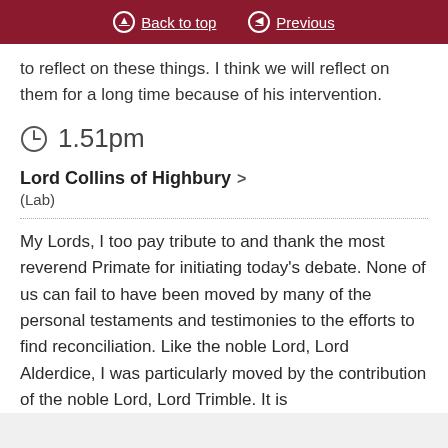Back to top   Previous
to reflect on these things. I think we will reflect on them for a long time because of his intervention.
1.51pm
Lord Collins of Highbury
(Lab)
My Lords, I too pay tribute to and thank the most reverend Primate for initiating today's debate. None of us can fail to have been moved by many of the personal testaments and testimonies to the efforts to find reconciliation. Like the noble Lord, Lord Alderdice, I was particularly moved by the contribution of the noble Lord, Lord Trimble. It is